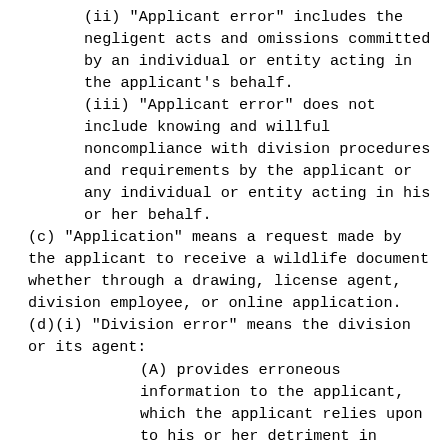(ii) "Applicant error" includes the negligent acts and omissions committed by an individual or entity acting in the applicant's behalf.
(iii) "Applicant error" does not include knowing and willful noncompliance with division procedures and requirements by the applicant or any individual or entity acting in his or her behalf.
(c) "Application" means a request made by the applicant to receive a wildlife document whether through a drawing, license agent, division employee, or online application.
(d)(i) "Division error" means the division or its agent:
(A) provides erroneous information to the applicant, which the applicant relies upon to his or her detriment in obtaining, or attempting to obtain a wildlife document;
(B) fails to provide information to the applicant required by law, policy, practice, or